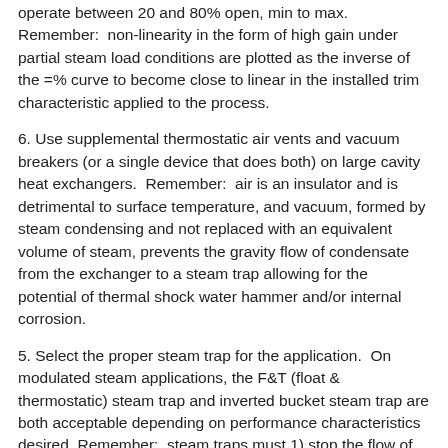operate between 20 and 80% open, min to max. Remember:  non-linearity in the form of high gain under partial steam load conditions are plotted as the inverse of the =% curve to become close to linear in the installed trim characteristic applied to the process.
6. Use supplemental thermostatic air vents and vacuum breakers (or a single device that does both) on large cavity heat exchangers.  Remember:  air is an insulator and is detrimental to surface temperature, and vacuum, formed by steam condensing and not replaced with an equivalent volume of steam, prevents the gravity flow of condensate from the exchanger to a steam trap allowing for the potential of thermal shock water hammer and/or internal corrosion.
5. Select the proper steam trap for the application.  On modulated steam applications, the F&T (float & thermostatic) steam trap and inverted bucket steam trap are both acceptable depending on performance characteristics desired. Remember:  steam traps must 1) stop the flow of steam to allow desired steam pressure to be maintained on the heat exchanger while latent heat is transferred to the process. 2) remove condensate in the heat exchanger